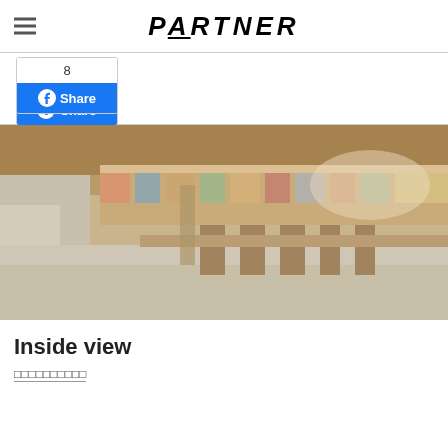PARTNER
[Figure (other): Facebook share button widget showing count 8 and a blue Share button with Facebook logo]
[Figure (photo): Interior view of a modern cafe or restaurant with long wooden tables, chairs, and bookshelves along the wall, blurred/pixelated image]
Inside view
□□□□□□□□□□